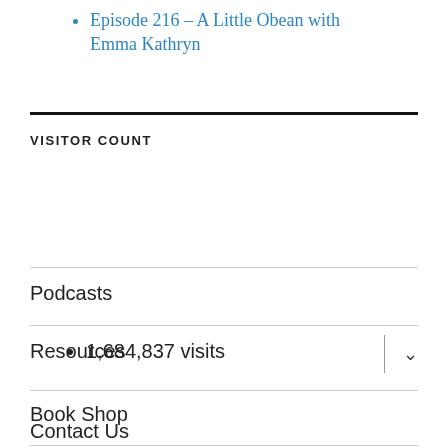Episode 216 – A Little Obean with Emma Kathryn
VISITOR COUNT
1,684,837 visits
Podcasts
Resources
Book Shop
Contact Us